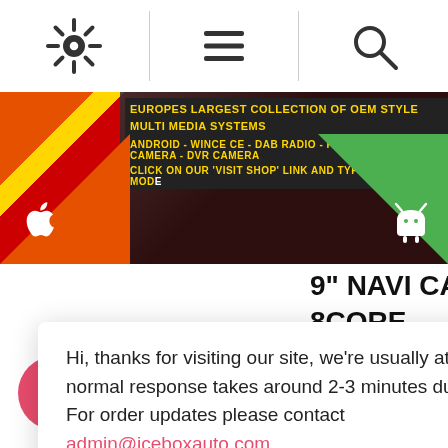[Figure (screenshot): Navigation bar with settings gear icon, menu/list icon, and search/magnifier icon separated by vertical dividers]
[Figure (screenshot): E-commerce banner: yellow and red diagonal stripes with text 'EUROPES LARGEST COLLECTION OF OEM STYLE MULTI MEDIA SYSTEMS ANDROID - WINCE CE - DAB RADIO - FREEVIEW TV - REAR CAMERA - DVR CAMERA CLICK ON OUR VISIT SHOP LINK AND TYPE YOUR CAR MODE...' with Apple and Android logos on orange and green triangles]
Hi, thanks for visiting our site, we're usually at our computers so a normal response takes around 2-3 minutes during our work hours.
For order updates please contact admin@iceboxauto.com
9" NAVI CARPLAY 8CORE
[Figure (screenshot): Pink/red Add to Cart button partially visible]
[Figure (screenshot): Pink circular chat button (speech bubble icon) at bottom left]
[Figure (screenshot): Pink outlined circular scroll-to-top button with chevron/caret up at bottom right]